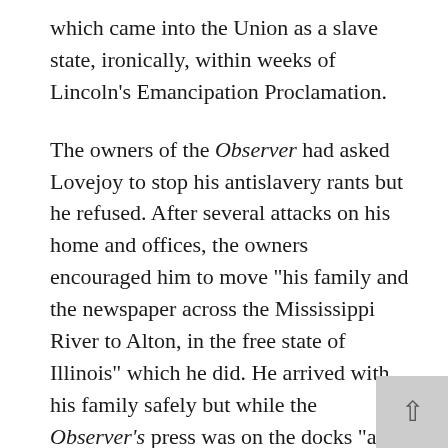which came into the Union as a slave state, ironically, within weeks of Lincoln's Emancipation Proclamation.
The owners of the Observer had asked Lovejoy to stop his antislavery rants but he refused. After several attacks on his home and offices, the owners encouraged him to move "his family and the newspaper across the Mississippi River to Alton, in the free state of Illinois" which he did. He arrived with his family safely but while the Observer's press was on the docks "a small group crossed the river